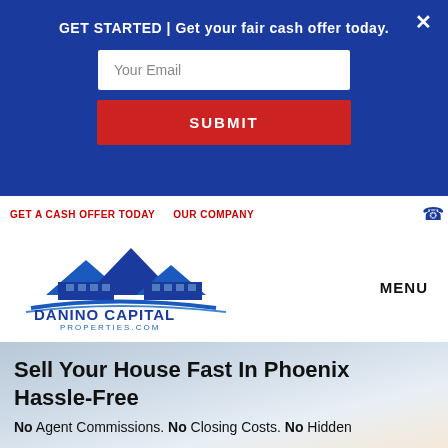GET STARTED | Get your fair cash offer today.
[Figure (screenshot): Email input field with placeholder text 'Your Email' and a red SUBMIT button below it, on a dark blue background with a close (X) button in the top right corner.]
GET A CASH OFFER TODAY   OUR COMPANY
[Figure (logo): Danino Capital Properties.com logo — blue house rooftops icon above the text DANINO CAPITAL PROPERTIES.COM in blue.]
MENU
Sell Your House Fast In Phoenix Hassle-Free
No Agent Commissions. No Closing Costs. No Hidden